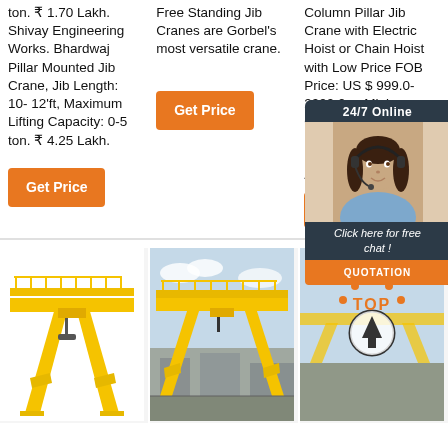ton. ₹ 1.70 Lakh. Shivay Engineering Works. Bhardwaj Pillar Mounted Jib Crane, Jib Length: 10- 12'ft, Maximum Lifting Capacity: 0-5 ton. ₹ 4.25 Lakh.
Get Price
Free Standing Jib Cranes are Gorbel's most versatile crane.
Get Price
Column Pillar Jib Crane with Electric Hoist or Chain Hoist with Low Price FOB Price: US $ 999.0-2999.0 ... Minimum Order: 1... Overhead Plasma Lift for R... Upon En... TOYOT... 4,700 F... S$ 490 ...
Get Price
[Figure (photo): Yellow gantry crane with A-frame legs, industrial yellow finish, studio white background]
[Figure (photo): Yellow gantry crane outdoors near building, side view]
[Figure (photo): Top ranking badge icon overlay on yellow gantry crane image]